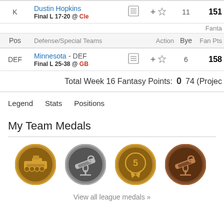| Pos | Player |  | Action | Bye | Fan Pts |
| --- | --- | --- | --- | --- | --- |
| K | Dustin Hopkins
Final L 17-20 @ Cle |  | + ☆ | 11 | 151 |
| DEF | Minnesota - DEF
Final L 25-38 @ GB |  | + ☆ | 6 | 158 |
Total Week 16 Fantasy Points: 0  74 (Proje
Legend   Stats   Positions
My Team Medals
[Figure (illustration): Four medal icons: gold tank/battleship medal, silver telescope medal, gold #5 ribbon medal, bronze telescope medal]
View all league medals »